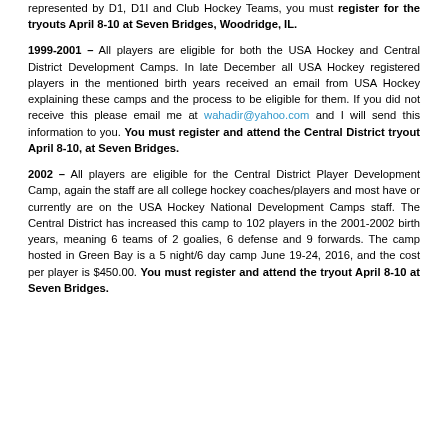represented by D1, D1I and Club Hockey Teams, you must register for the tryouts April 8-10 at Seven Bridges, Woodridge, IL.
1999-2001 – All players are eligible for both the USA Hockey and Central District Development Camps. In late December all USA Hockey registered players in the mentioned birth years received an email from USA Hockey explaining these camps and the process to be eligible for them. If you did not receive this please email me at wahadir@yahoo.com and I will send this information to you. You must register and attend the Central District tryout April 8-10, at Seven Bridges.
2002 – All players are eligible for the Central District Player Development Camp, again the staff are all college hockey coaches/players and most have or currently are on the USA Hockey National Development Camps staff. The Central District has increased this camp to 102 players in the 2001-2002 birth years, meaning 6 teams of 2 goalies, 6 defense and 9 forwards. The camp hosted in Green Bay is a 5 night/6 day camp June 19-24, 2016, and the cost per player is $450.00. You must register and attend the tryout April 8-10 at Seven Bridges.